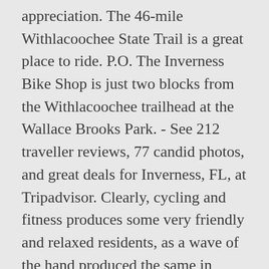appreciation. The 46-mile Withlacoochee State Trail is a great place to ride. P.O. The Inverness Bike Shop is just two blocks from the Withlacoochee trailhead at the Wallace Brooks Park. - See 212 traveller reviews, 77 candid photos, and great deals for Inverness, FL, at Tripadvisor. Clearly, cycling and fitness produces some very friendly and relaxed residents, as a wave of the hand produced the same in return and always with a smile. The restroom there comes in handy for changing into more comfy clothes and filling water bottles. Much of the trail is through forest with a lovely, shady canopy. Box 807, Inverness, FL 34451, website of the non-profit Friends of the Withlacoochee State Trail. I want to live here!